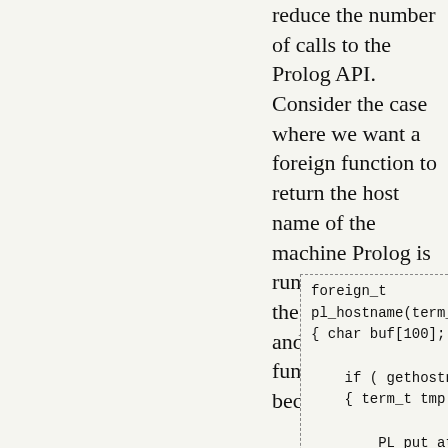reduce the number of calls to the Prolog API. Consider the case where we want a foreign function to return the host name of the machine Prolog is running on. Using the PL_get_*() and PL_put_*() functions, the code becomes:
[Figure (other): Code block showing C function pl_hostname using PL_put_atom_chars and PL_unify]